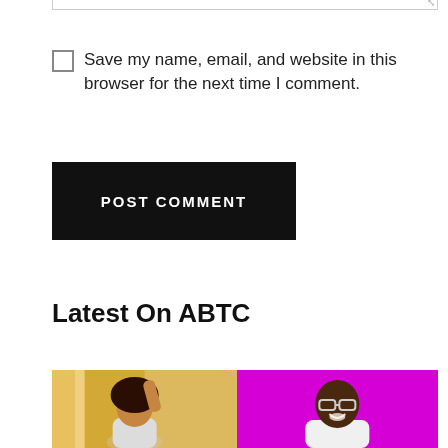Save my name, email, and website in this browser for the next time I comment.
POST COMMENT
Latest On ABTC
[Figure (photo): Two side-by-side photos: left shows a woman with curly hair raising her arm, standing in a yellow/warm-toned room; right shows a man wearing glasses smiling against a magenta/purple background.]